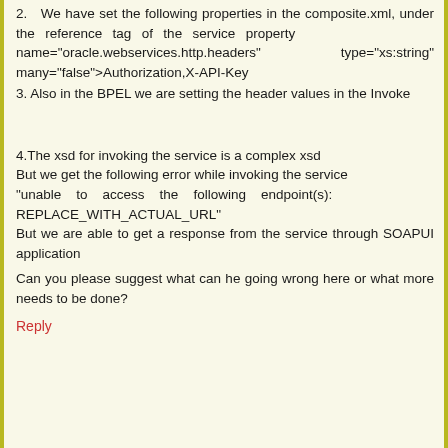2.  We have set the following properties in the composite.xml, under the reference tag of the service property              name="oracle.webservices.http.headers" type="xs:string" many="false">Authorization,X-API-Key
3. Also in the BPEL we are setting the header values in the Invoke
4.The xsd for invoking the service is a complex xsd
But we get the following error while invoking the service
"unable   to   access   the   following   endpoint(s): REPLACE_WITH_ACTUAL_URL"
But we are able to get a response from the service through SOAPUI application
Can you please suggest what can he going wrong here or what more needs to be done?
Reply